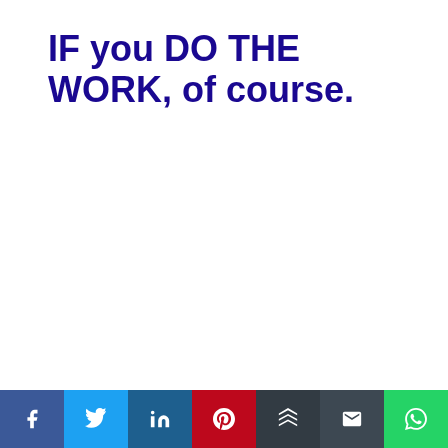IF you DO THE WORK, of course.
But if you actually DO that?
[Figure (other): Social share bar with 7 buttons: Facebook (blue), Twitter (light blue), LinkedIn (dark blue), Pinterest (red), Buffer (dark gray), Email (dark gray), WhatsApp (green)]